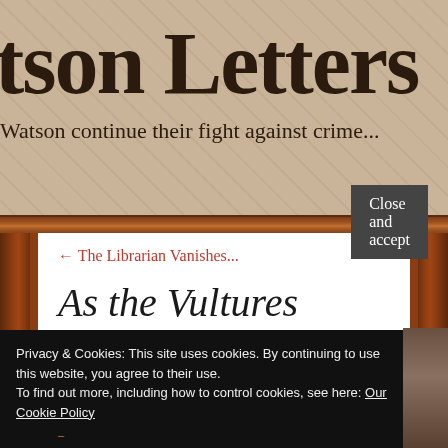tson Letters
Watson continue their fight against crime...
← The Librarian Vanishes...
As the Vultures Gather...
from Dr J Watson to Sherlock Holmes Esq:
Privacy & Cookies: This site uses cookies. By continuing to use this website, you agree to their use.
To find out more, including how to control cookies, see here: Our Cookie Policy
Close and accept
disgruntled librarians are the least of our